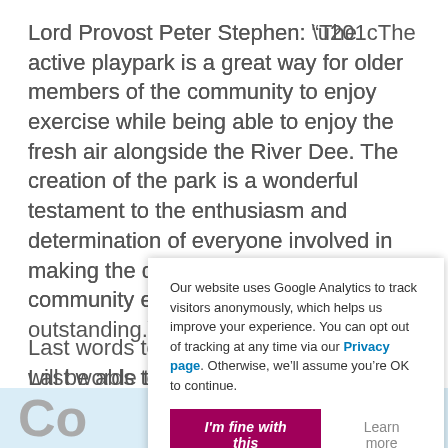Lord Provost Peter Stephen: “The active playpark is a great way for older members of the community to enjoy exercise while being able to enjoy the fresh air alongside the River Dee. The creation of the park is a wonderful testament to the enthusiasm and determination of everyone involved in making the dream a reality. As a community effort, this is outstanding.”
Last words to Billie Arthur: “Any gran will be able to take their grandchild down to the park, put them on a swin[g] ... playgr[ound] ... and cl[imb] ...”
Our website uses Google Analytics to track visitors anonymously, which helps us improve your experience. You can opt out of tracking at any time via our Privacy page. Otherwise, we’ll assume you’re OK to continue.
I'm fine with this
Learn more
Co